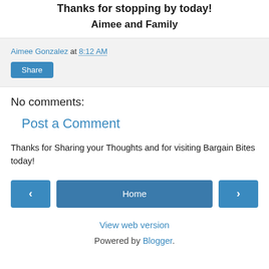Thanks for stopping by today!
Aimee and Family
Aimee Gonzalez at 8:12 AM
Share
No comments:
Post a Comment
Thanks for Sharing your Thoughts and for visiting Bargain Bites today!
‹  Home  ›
View web version
Powered by Blogger.